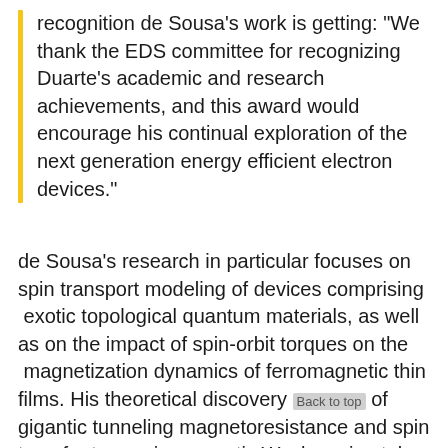recognition de Sousa's work is getting: "We thank the EDS committee for recognizing Duarte's academic and research achievements, and this award would encourage his continual exploration of the next generation energy efficient electron devices."
de Sousa's research in particular focuses on spin transport modeling of devices comprising exotic topological quantum materials, as well as on the impact of spin-orbit torques on the magnetization dynamics of ferromagnetic thin films. His theoretical discovery of gigantic tunneling magnetoresistance and spin transfer torque in magnetic Weyl semimetals (MWS) is one of his most significant research contributions to the area. By exploiting the unique property of magnetization-chirality locking in MWS, he has shown that tunneling